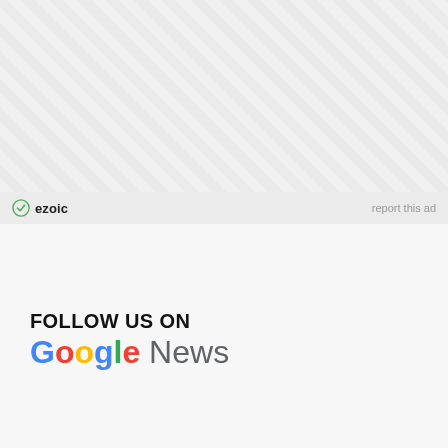[Figure (other): Ezoic advertisement placeholder area with crosshatch pattern background]
ezoic   report this ad
[Figure (logo): Follow us on Google News banner with Google News logo icon]